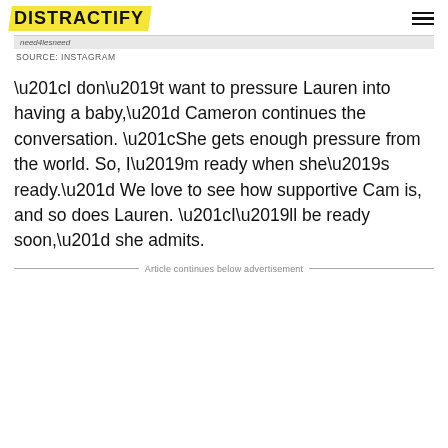DISTRACTIFY
SOURCE: INSTAGRAM
“I don’t want to pressure Lauren into having a baby,” Cameron continues the conversation. “She gets enough pressure from the world. So, I’m ready when she’s ready.” We love to see how supportive Cam is, and so does Lauren. “I’ll be ready soon,” she admits.
Article continues below advertisement